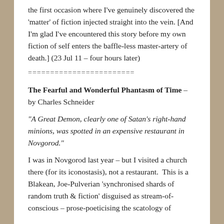the first occasion where I've genuinely discovered the 'matter' of fiction injected straight into the vein. [And I'm glad I've encountered this story before my own fiction of self enters the baffle-less master-artery of death.] (23 Jul 11 – four hours later)
========================
The Fearful and Wonderful Phantasm of Time – by Charles Schneider
“A Great Demon, clearly one of Satan’s right-hand minions, was spotted in an expensive restaurant in Novgorod.”
I was in Novgorod last year – but I visited a church there (for its iconostasis), not a restaurant.  This is a Blakean, Joe-Pulverian ‘synchronised shards of random truth & fiction’ disguised as stream-of-conscious – prose-poeticising the scatology of